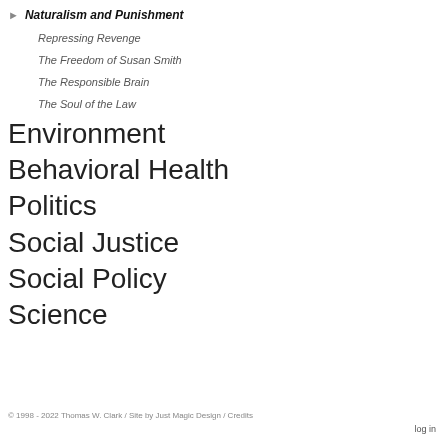Naturalism and Punishment
Repressing Revenge
The Freedom of Susan Smith
The Responsible Brain
The Soul of the Law
Environment
Behavioral Health
Politics
Social Justice
Social Policy
Science
© 1998 - 2022 Thomas W. Clark / Site by Just Magic Design / Credits
log in